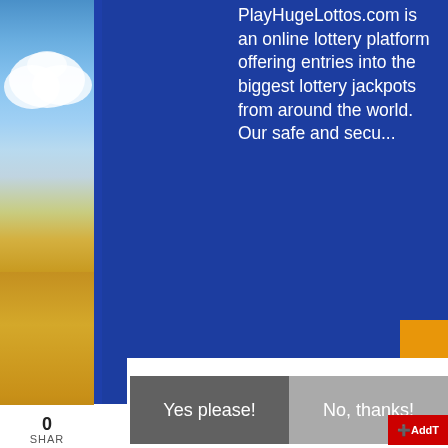[Figure (photo): Left panel showing blue sky with clouds (top) transitioning to golden/wheat field (bottom)]
PlayHugeLottos.com is an online lottery platform offering entries into the biggest lottery jackpots from around the world. Our safe and secu...
[Figure (illustration): Orange circle partially visible at top right of blue background]
Best Opportunities for Your Business
Yes please!
No, thanks!
0
SHAR
AddT...